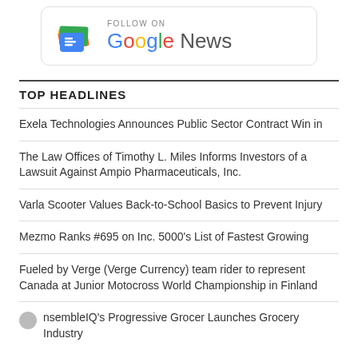[Figure (logo): Google News follow button with colorful G-News icon and text 'FOLLOW ON Google News']
TOP HEADLINES
Exela Technologies Announces Public Sector Contract Win in
The Law Offices of Timothy L. Miles Informs Investors of a Lawsuit Against Ampio Pharmaceuticals, Inc.
Varla Scooter Values Back-to-School Basics to Prevent Injury
Mezmo Ranks #695 on Inc. 5000's List of Fastest Growing
Fueled by Verge (Verge Currency) team rider to represent Canada at Junior Motocross World Championship in Finland
nsembleIQ's Progressive Grocer Launches Grocery Industry